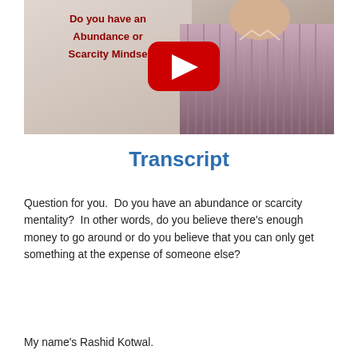[Figure (screenshot): Video thumbnail showing a man in a striped shirt with YouTube play button overlay and text 'Do you have an Abundance or Scarcity Mindset' in dark red on the left side]
Transcript
Question for you.  Do you have an abundance or scarcity mentality?  In other words, do you believe there’s enough money to go around or do you believe that you can only get something at the expense of someone else?
My name’s Rashid Kotwal.